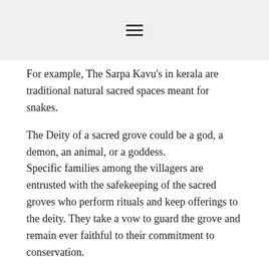≡
For example, The Sarpa Kavu's in kerala are traditional natural sacred spaces meant for snakes.
The Deity of a sacred grove could be a god, a demon, an animal, or a goddess. Specific families among the villagers are entrusted with the safekeeping of the sacred groves who perform rituals and keep offerings to the deity. They take a vow to guard the grove and remain ever faithful to their commitment to conservation.
The Garo and Khasi tribes of Meghalaya are a fine example of  fierce protection of sacred groves by the local tribes.
For sacred groves to survive, these superstitions